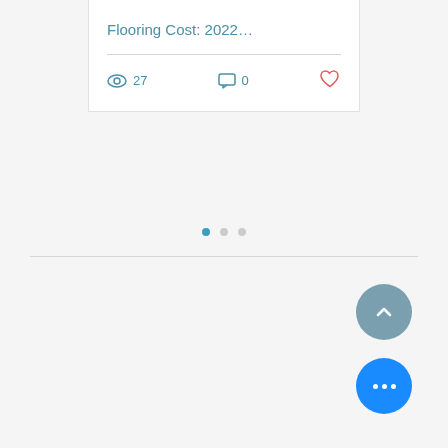Flooring Cost: 2022…
27 views  0 comments  heart
[Figure (infographic): Pagination indicator with three dots: first dot active (teal), second and third inactive (gray)]
[Figure (other): Scroll-to-top circular button with chevron up arrow, steel blue color]
[Figure (other): More options circular button with three white dots, bright blue color]